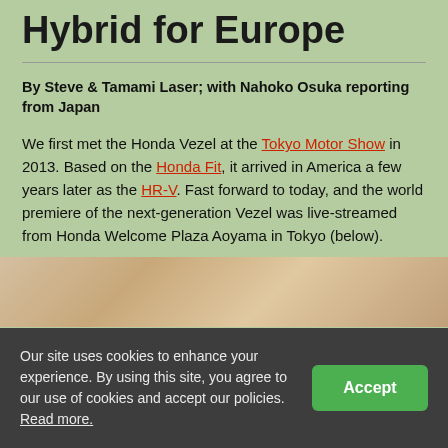Hybrid for Europe
By Steve & Tamami Laser; with Nahoko Osuka reporting from Japan
We first met the Honda Vezel at the Tokyo Motor Show in 2013. Based on the Honda Fit, it arrived in America a few years later as the HR-V. Fast forward to today, and the world premiere of the next-generation Vezel was live-streamed from Honda Welcome Plaza Aoyama in Tokyo (below).
[Figure (photo): Photo of a vehicle interior or exterior, partially visible at the bottom of the page]
Our site uses cookies to enhance your experience. By using this site, you agree to our use of cookies and accept our policies. Read more.